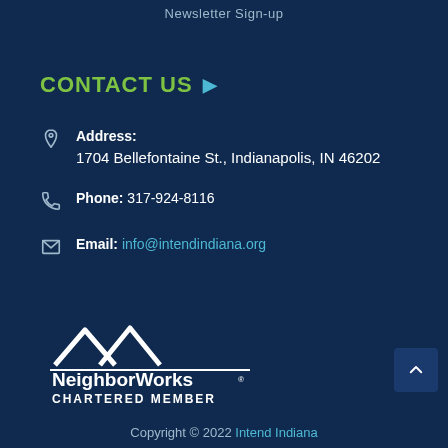Newsletter Sign-up
CONTACT US
Address: 1704 Bellefontaine St., Indianapolis, IN 46202
Phone: 317-924-8116
Email: info@intendindiana.org
[Figure (logo): NeighborWorks Chartered Member logo — white house/roof icon above 'NeighborWorks®' text and 'CHARTERED MEMBER' below a horizontal rule]
Copyright © 2022 Intend Indiana